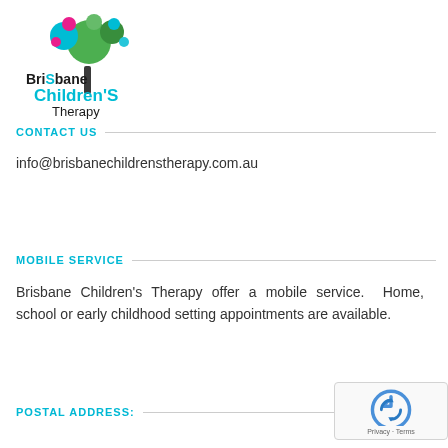[Figure (logo): Brisbane Children's Therapy logo with a colourful tree (green, pink/magenta, teal leaves) above the text 'BrisBane Children'S Therapy' in dark and cyan colours]
CONTACT US
info@brisbanechildrenstherapy.com.au
MOBILE SERVICE
Brisbane Children's Therapy offer a mobile service.  Home, school or early childhood setting appointments are available.
POSTAL ADDRESS: